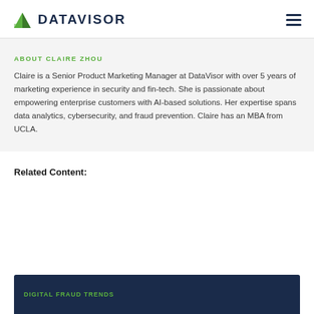DATAVISOR
ABOUT CLAIRE ZHOU
Claire is a Senior Product Marketing Manager at DataVisor with over 5 years of marketing experience in security and fin-tech. She is passionate about empowering enterprise customers with AI-based solutions. Her expertise spans data analytics, cybersecurity, and fraud prevention. Claire has an MBA from UCLA.
Related Content:
DIGITAL FRAUD TRENDS